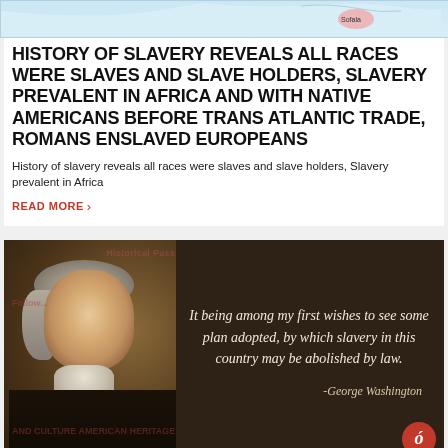[Figure (map): Partial map image showing geographic region with label 'Sofala']
HISTORY OF SLAVERY REVEALS ALL RACES WERE SLAVES AND SLAVE HOLDERS, SLAVERY PREVALENT IN AFRICA AND WITH NATIVE AMERICANS BEFORE TRANS ATLANTIC TRADE, ROMANS ENSLAVED EUROPEANS
History of slavery reveals all races were slaves and slave holders, Slavery prevalent in Africa
READ MORE ›
[Figure (photo): Portrait of George Washington on dark background with italic quote: 'It being among my first wishes to see some plan adopted, by which slavery in this country may be abolished by law.' attributed to -George Washington]